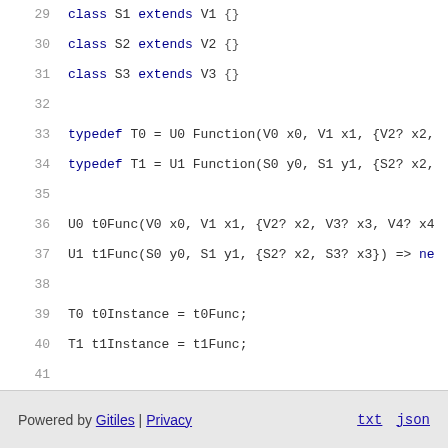29   class S1 extends V1 {}
30   class S2 extends V2 {}
31   class S3 extends V3 {}
32
33   typedef T0 = U0 Function(V0 x0, V1 x1, {V2? x2,
34   typedef T1 = U1 Function(S0 y0, S1 y1, {S2? x2,
35
36   U0 t0Func(V0 x0, V1 x1, {V2? x2, V3? x3, V4? x4
37   U1 t1Func(S0 y0, S1 y1, {S2? x2, S3? x3}) => ne
38
39   T0 t0Instance = t0Func;
40   T1 t1Instance = t1Func;
41
42   const t1Default = t1Func;
43
44   //# @T0 = T0
45   //# @T1 = T1
Powered by Gitiles | Privacy    txt  json